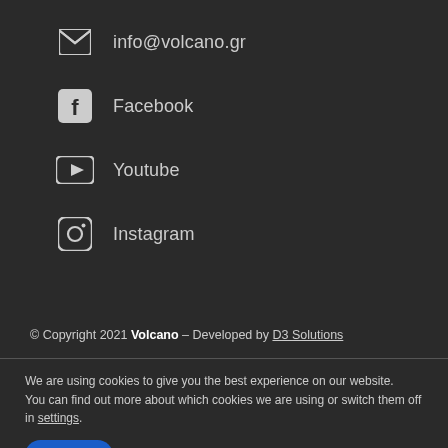info@volcano.gr
Facebook
Youtube
Instagram
© Copyright 2021 Volcano – Developed by D3 Solutions
We are using cookies to give you the best experience on our website.
You can find out more about which cookies we are using or switch them off in settings.
Accept